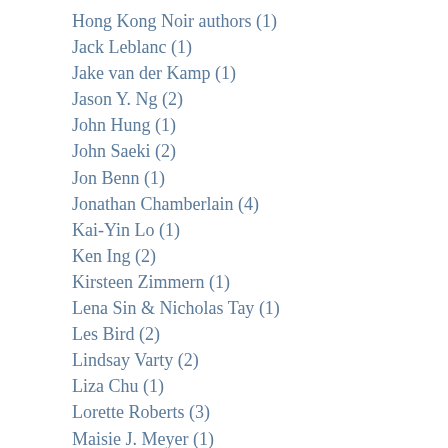Hong Kong Noir authors (1)
Jack Leblanc (1)
Jake van der Kamp (1)
Jason Y. Ng (2)
John Hung (1)
John Saeki (2)
Jon Benn (1)
Jonathan Chamberlain (4)
Kai-Yin Lo (1)
Ken Ing (2)
Kirsteen Zimmern (1)
Lena Sin & Nicholas Tay (1)
Les Bird (2)
Lindsay Varty (2)
Liza Chu (1)
Lorette Roberts (3)
Maisie J. Meyer (1)
Mark Isaac-Williams (1)
Michael Kohn (2)
Mike Rowse (1)
Mike Sharp (1)
Muhammad Cohen (1)
Murray Curr (1)